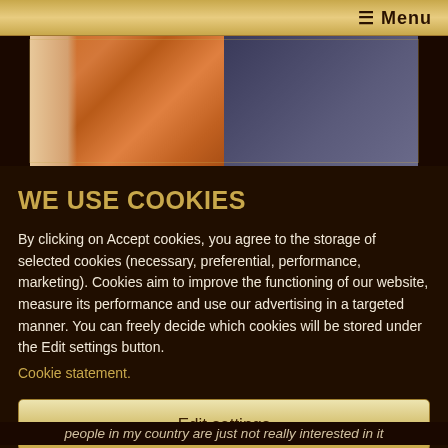☰ Menu
[Figure (photo): Partial view of people, showing hair and clothing — background image partially visible]
WE USE COOKIES
By clicking on Accept cookies, you agree to the storage of selected cookies (necessary, preferential, performance, marketing). Cookies aim to improve the functioning of our website, measure its performance and use our advertising in a targeted manner. You can freely decide which cookies will be stored under the Edit settings button.
Cookie statement.
Edit settings
Accept cookies
people in my country are just not really interested in it